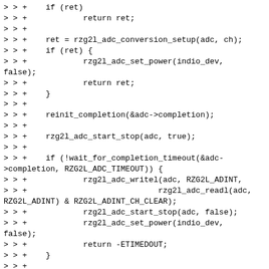> > +    if (ret)
> > +            return ret;
> > +
> > +    ret = rzg2l_adc_conversion_setup(adc, ch);
> > +    if (ret) {
> > +            rzg2l_adc_set_power(indio_dev,
false);
> > +            return ret;
> > +    }
> > +
> > +    reinit_completion(&adc->completion);
> > +
> > +    rzg2l_adc_start_stop(adc, true);
> > +
> > +    if (!wait_for_completion_timeout(&adc->completion, RZG2L_ADC_TIMEOUT)) {
> > +            rzg2l_adc_writel(adc, RZG2L_ADINT,
> > +                            rzg2l_adc_readl(adc,
RZG2L_ADINT) & RZG2L_ADINT_CH_CLEAR);
> > +            rzg2l_adc_start_stop(adc, false);
> > +            rzg2l_adc_set_power(indio_dev,
false);
> > +            return -ETIMEDOUT;
> > +    }
> > +
> > +    return rzg2l_adc_set_power(indio_dev, false);
> > +}
> > +
> > +static int rzg2l_adc_read_raw(struct iio_dev
*indio_dev,